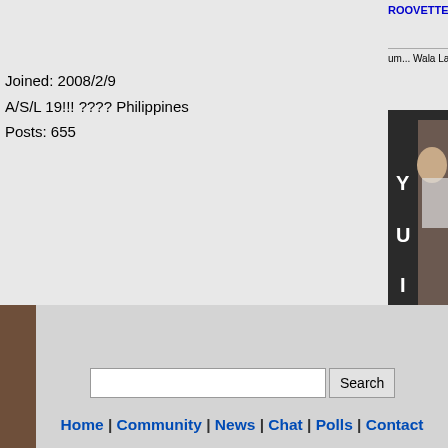ROOVETTE
um... Wala Lang
[Figure (photo): Avatar image of a person with YUI text overlay, dark background]
Joined: 2008/2/9
A/S/L 19!!! ???? Philippines
Posts: 655
Posted on: 2010/9/29 0:17
Top  Previous Topic  Next Topic
Home | Community | News | Chat | Polls | Contact
Search